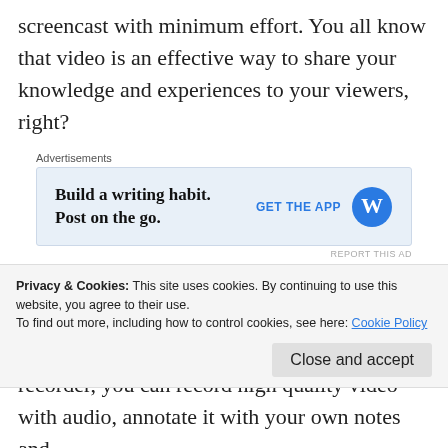screencast with minimum effort. You all know that video is an effective way to share your knowledge and experiences to your viewers, right?
[Figure (screenshot): WordPress advertisement banner: 'Build a writing habit. Post on the go.' with GET THE APP button and WordPress logo on light blue background]
There are some ways to create a video. But the easiest way is to create it from recording your computer's screen. With a powerful screen recorder, you can record high quality video with audio, annotate it with your own notes and
Privacy & Cookies: This site uses cookies. By continuing to use this website, you agree to their use.
To find out more, including how to control cookies, see here: Cookie Policy
Close and accept